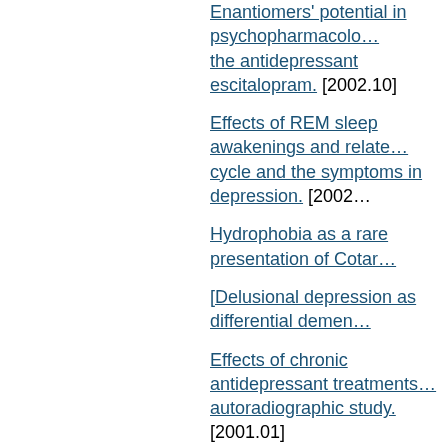Enantiomers' potential in psychopharmacology … the antidepressant escitalopram. [2002.10]
Effects of REM sleep awakenings and relate… cycle and the symptoms in depression. [2002…]
Hydrophobia as a rare presentation of Cotar…
[Delusional depression as differential demen…
Effects of chronic antidepressant treatments… autoradiographic study. [2001.01]
[Tourette's syndrome and antidepressant the… paroxetine] [2000.05]
Clozapine in bipolar disorder: treatment impl… [1998.03]
Selective activation of postsynaptic 5-HT1A … [1997.05]
[Depressive stupor--malignant neuroleptic sy… contribution to a difficult differential diagnosis…
[Sleep disorders--what can be done when h…